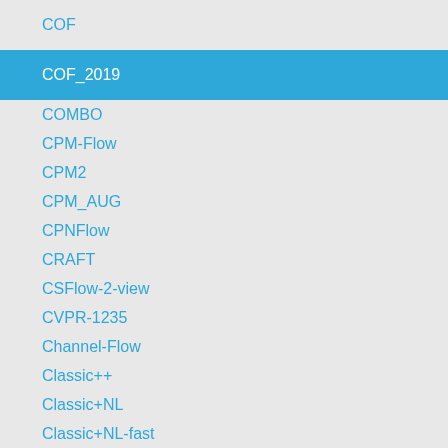COF
COF_2019
COMBO
CPM-Flow
CPM2
CPM_AUG
CPNFlow
CRAFT
CSFlow-2-view
CVPR-1235
Channel-Flow
Classic++
Classic+NL
Classic+NL-fast
Classic+NLP
CoT-AMFlow
CompactFlow
CompactFlow-woscv
ComponentFusion